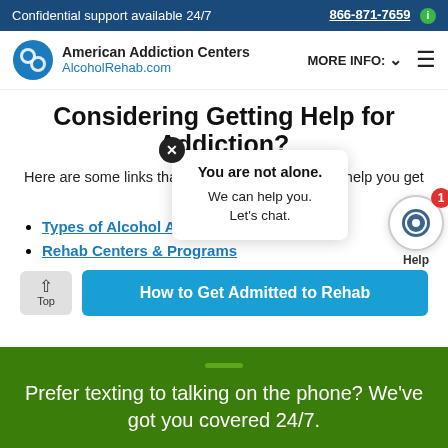Confidential support available 24/7   866-871-7659
[Figure (logo): American Addiction Centers / AlcoholRehab.com logo with navigation bar]
Considering Getting Help for Addiction?
Here are some links that can teach you more and help you get started:
Types of Alcohol Addiction
Rehab Centers & Programs
You are not alone. We can help you. Let's chat.
How to Get Admitted to Rehab
Prefer texting to talking on the phone? We've got you covered 24/7.